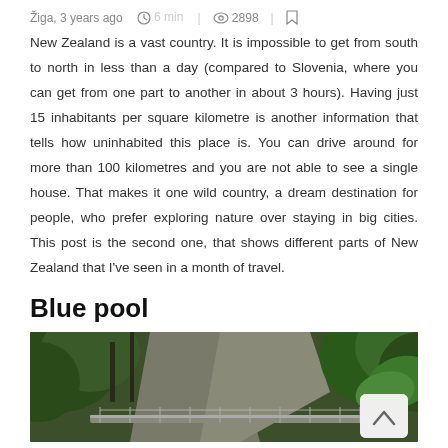Žiga, 3 years ago  🕐 6 min | 👁 2898 | 🔖
New Zealand is a vast country. It is impossible to get from south to north in less than a day (compared to Slovenia, where you can get from one part to another in about 3 hours). Having just 15 inhabitants per square kilometre is another information that tells how uninhabited this place is. You can drive around for more than 100 kilometres and you are not able to see a single house. That makes it one wild country, a dream destination for people, who prefer exploring nature over staying in big cities. This post is the second one, that shows different parts of New Zealand that I've seen in a month of travel.
Blue pool
[Figure (photo): Aerial or hillside view of a lush green forest with rocky cliff face and a walkway/bridge, New Zealand landscape]